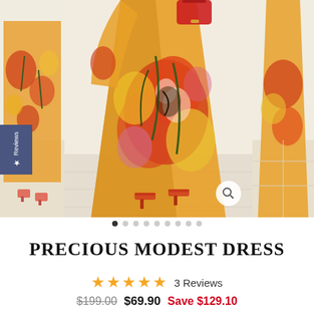[Figure (photo): Product photo gallery of a floral modest dress. Main center image shows a woman wearing an orange/yellow/red floral long maxi dress with long sleeves, carrying a red handbag, wearing red heeled sandals. Left thumbnail shows side/cropped view of same dress. Right thumbnail shows another angle. A blue Reviews badge on the left side and a zoom icon on the lower right of main image.]
3 Reviews
PRECIOUS MODEST DRESS
★★★★★  3 Reviews
$199.00  $69.90  Save $129.10